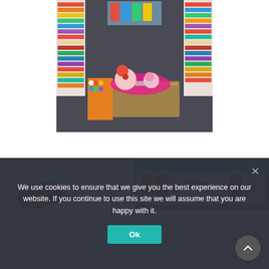[Figure (photo): Interior of a yarn/craft store with colorful shelves of yarn along the walls. In the center is a wooden table displaying crocheted items including stuffed animals (pig, rabbit) and colorful blankets/throws made of granny squares.]
[Figure (photo): Close-up photo showing red ribbon or fabric rolls on a white surface.]
[Figure (photo): Photo showing organized storage boxes/trays containing spools of thread in red and other colors.]
We use cookies to ensure that we give you the best experience on our website. If you continue to use this site we will assume that you are happy with it.
Ok